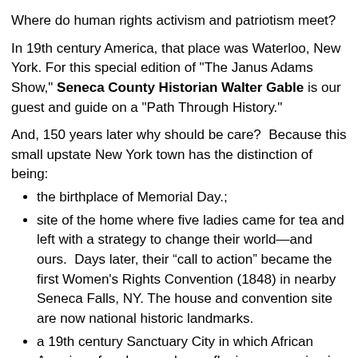Where do human rights activism and patriotism meet?
In 19th century America, that place was Waterloo, New York. For this special edition of "The Janus Adams Show," Seneca County Historian Walter Gable is our guest and guide on a "Path Through History."
And, 150 years later why should be care?  Because this small upstate New York town has the distinction of being:
the birthplace of Memorial Day.;
site of the home where five ladies came for tea and left with a strategy to change their world—and ours.  Days later, their “call to action” became the first Women's Rights Convention (1848) in nearby Seneca Falls, NY. The house and convention site are now national historic landmarks.
a 19th century Sanctuary City in which African American freedom-seekers—fleeing oppression in the south and the north—found welcome and respect.